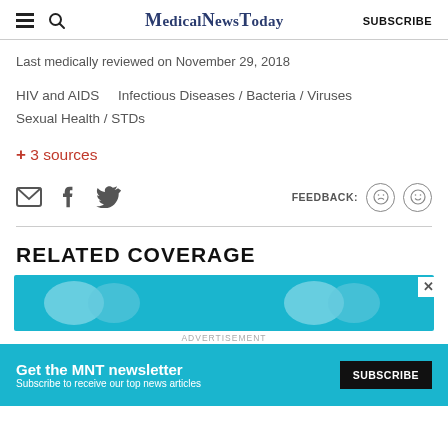MedicalNewsToday SUBSCRIBE
Last medically reviewed on November 29, 2018
HIV and AIDS    Infectious Diseases / Bacteria / Viruses
Sexual Health / STDs
+ 3 sources
[Figure (infographic): Social share icons: email, Facebook, Twitter. Feedback label with sad and happy face buttons.]
RELATED COVERAGE
[Figure (illustration): Teal banner image strip showing illustrated faces, with advertisement banner below: Get the MNT newsletter - Subscribe to receive our top news articles - SUBSCRIBE button]